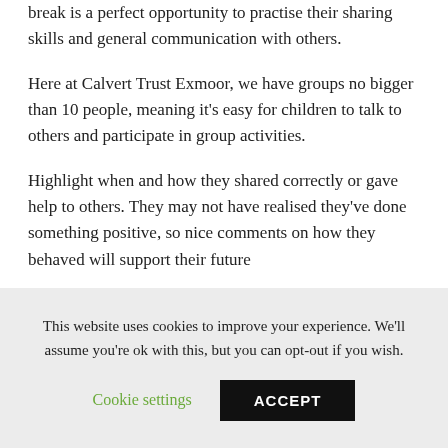break is a perfect opportunity to practise their sharing skills and general communication with others.
Here at Calvert Trust Exmoor, we have groups no bigger than 10 people, meaning it's easy for children to talk to others and participate in group activities.
Highlight when and how they shared correctly or gave help to others. They may not have realised they've done something positive, so nice comments on how they behaved will support their future
This website uses cookies to improve your experience. We'll assume you're ok with this, but you can opt-out if you wish.
Cookie settings
ACCEPT